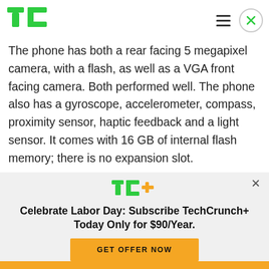TechCrunch header with logo, hamburger menu, and close button
The phone has both a rear facing 5 megapixel camera, with a flash, as well as a VGA front facing camera. Both performed well. The phone also has a gyroscope, accelerometer, compass, proximity sensor, haptic feedback and a light sensor. It comes with 16 GB of internal flash memory; there is no expansion slot.
[Figure (infographic): TechCrunch+ promotional banner with TC+ logo, headline 'Celebrate Labor Day: Subscribe TechCrunch+ Today Only for $90/Year.' and yellow GET OFFER NOW button]
Yellow bar at bottom